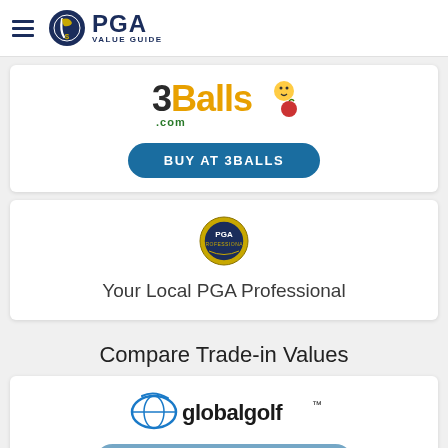PGA VALUE GUIDE
[Figure (logo): 3Balls.com logo with cartoon character]
BUY AT 3BALLS
[Figure (logo): PGA badge/seal logo]
Your Local PGA Professional
Compare Trade-in Values
[Figure (logo): globalgolf logo]
TRADE IN AT GLOBAL GOLF